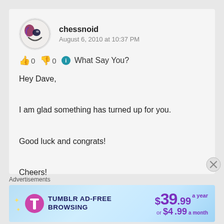[Figure (photo): Avatar image of user 'chessnoid' — a circular cartoon face with dark and light colors]
chessnoid
August 6, 2010 at 10:37 PM
👍 0 👎 0 ℹ What Say You?
Hey Dave,

I am glad something has turned up for you.

Good luck and congrats!

Cheers!
★ Like
Advertisements
[Figure (infographic): Tumblr Ad-Free Browsing advertisement banner: $39.99 a year or $4.99 a month]